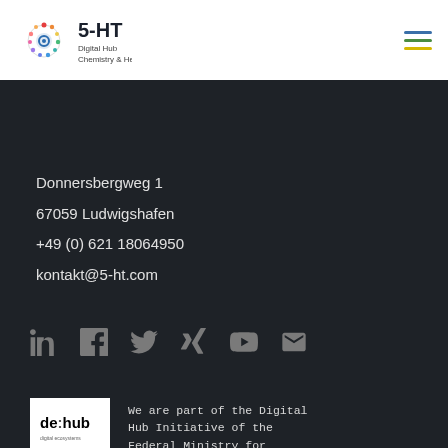[Figure (logo): 5-HT Digital Hub Chemistry & Health logo with colorful dot circle icon]
[Figure (illustration): Hamburger menu icon with three colored lines: blue, green, yellow]
Donnersbergweg 1
67059 Ludwigshafen
+49 (0) 621 18064950
kontakt@5-ht.com
[Figure (illustration): Social media icons: LinkedIn, Facebook, Twitter, Xing, YouTube, Email]
[Figure (logo): de:hub digital ecosystems logo in white box]
We are part of the Digital Hub Initiative of the Federal Ministry for Economics Affairs and Climate Action.
Rechtliches